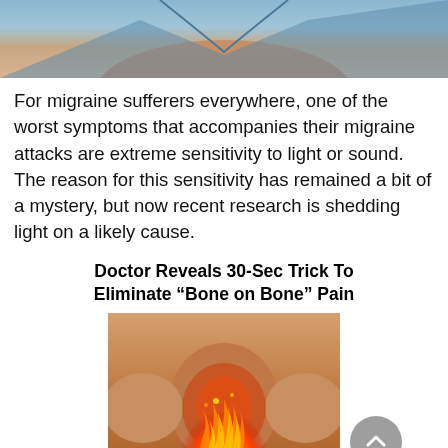[Figure (photo): Partial view of a person's body/neck area against a blue shirt background — top portion of a health article image]
For migraine sufferers everywhere, one of the worst symptoms that accompanies their migraine attacks are extreme sensitivity to light or sound. The reason for this sensitivity has remained a bit of a mystery, but now recent research is shedding light on a likely cause.
Doctor Reveals 30-Sec Trick To Eliminate “Bone on Bone” Pain
[Figure (photo): Advertisement image showing elderly hands gripping an inflamed knee with fire/flames overlaid on the knee joint to symbolize bone pain]